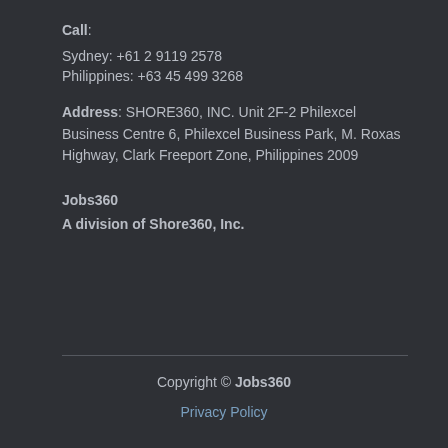Call: Sydney: +61 2 9119 2578 Philippines: +63 45 499 3268
Address: SHORE360, INC. Unit 2F-2 Philexcel Business Centre 6, Philexcel Business Park, M. Roxas Highway, Clark Freeport Zone, Philippines 2009
Jobs360
A division of Shore360, Inc.
Copyright © Jobs360
Privacy Policy